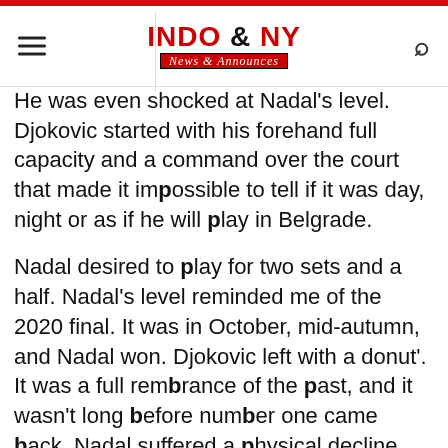INDO & NY News & Announces
He was even shocked at Nadal's level. Djokovic started with his forehand full capacity and a command over the court that made it impossible to tell if it was day, night or as if he will play in Belgrade.
Nadal desired to play for two sets and a half. Nadal's level reminded me of the 2020 final. It was in October, mid-autumn, and Nadal won. Djokovic left with a donut'. It was a full remembrance of the past, and it wasn't long before number one came back. Nadal suffered a physical decline and the Serb received a wake up call. He went from 3-0 to 30-15 in the second set, but then went on to win 6-1.
The match was won and the score indicated that it had been even. However, the battle was intense with only two hours of play between the two sets. It was